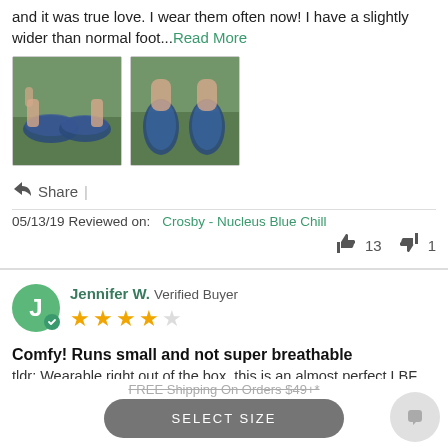and it was true love. I wear them often now! I have a slightly wider than normal foot...Read More
[Figure (photo): Two photos of shoes on grass: left shows shoes from front/side view, right shows shoes from top view on feet]
Share |
05/13/19 Reviewed on: Crosby - Nucleus Blue Chill
thumbs up 13  thumbs down 1
Jennifer W. Verified Buyer
4 out of 5 stars
Comfy! Runs small and not super breathable
tldr: Wearable right out of the box, this is an almost perfect LBF
FREE Shipping On Orders $49+*
SELECT SIZE